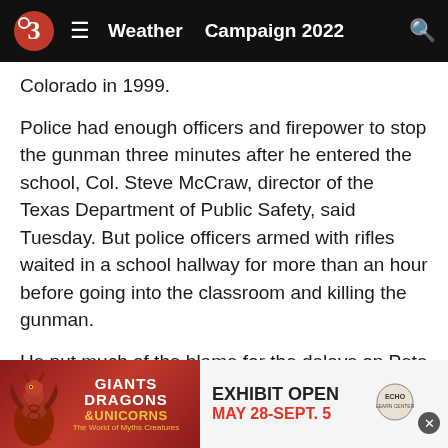Weather  Campaign 2022
Colorado in 1999.
Police had enough officers and firepower to stop the gunman three minutes after he entered the school, Col. Steve McCraw, director of the Texas Department of Public Safety, said Tuesday. But police officers armed with rifles waited in a school hallway for more than an hour before going into the classroom and killing the gunman.
He put much of the blame for the delays on Pete Arredondo, the Uvalde school district police chief who McCraw said was the commander in charge.
The school district put Arredondo on administrative leave on Wednesday. Uvalde Consolidated Independent School District Superintendent Hal Harrell said the facts of what ha...
[Figure (infographic): Advertisement banner for Giants Dragons & Unicorns exhibit, open May 28-Sept. 5, with a dragon illustration on the left and exhibit info on the right]